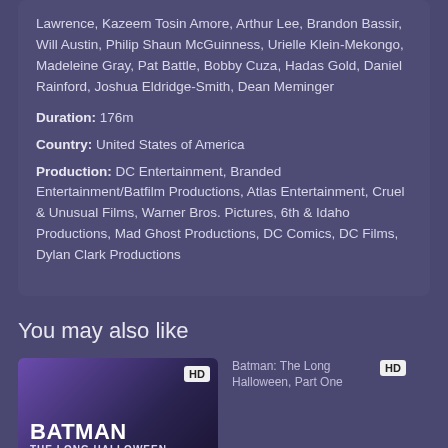Lawrence, Kazeem Tosin Amore, Arthur Lee, Brandon Bassir, Will Austin, Philip Shaun McGuinness, Urielle Klein-Mekongo, Madeleine Gray, Pat Battle, Bobby Cuza, Hadas Gold, Daniel Rainford, Joshua Eldridge-Smith, Dean Meminger
Duration: 176m
Country: United States of America
Production: DC Entertainment, Branded Entertainment/Batfilm Productions, Atlas Entertainment, Cruel & Unusual Films, Warner Bros. Pictures, 6th & Idaho Productions, Mad Ghost Productions, DC Comics, DC Films, Dylan Clark Productions
You may also like
[Figure (photo): Batman: The Long Halloween Part Two movie thumbnail with HD badge]
[Figure (photo): Batman: The Long Halloween, Part One broken image placeholder with HD badge]